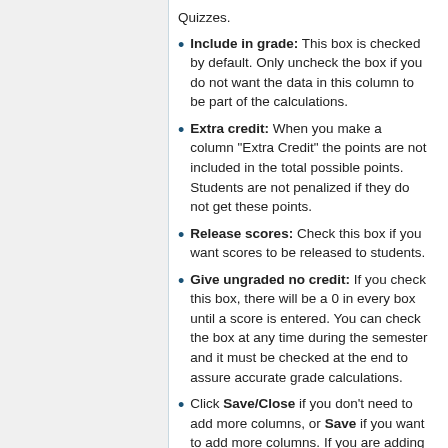Quizzes.
Include in grade: This box is checked by default. Only uncheck the box if you do not want the data in this column to be part of the calculations.
Extra credit: When you make a column "Extra Credit" the points are not included in the total possible points. Students are not penalized if they do not get these points.
Release scores: Check this box if you want scores to be released to students.
Give ungraded no credit: If you check this box, there will be a 0 in every box until a score is entered. You can check the box at any time during the semester and it must be checked at the end to assure accurate grade calculations.
Click Save/Close if you don't need to add more columns, or Save if you want to add more columns. If you are adding more columns, simply change the current information and hit Save again. For